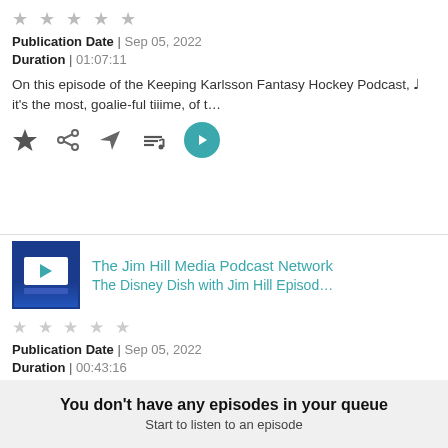★★★★★ (stars, unrated)
Publication Date | Sep 05, 2022
Duration | 01:07:11
On this episode of the Keeping Karlsson Fantasy Hockey Podcast, ♩ it's the most, goalie-ful tiiime, of t…
[Figure (infographic): Action icons row: star, share, send, playlist, play button]
[Figure (screenshot): The Jim Hill Media Podcast Network thumbnail — blue background with white screen and play icon]
The Jim Hill Media Podcast Network
The Disney Dish with Jim Hill Episod…
★★★★★ (stars, unrated)
Publication Date | Sep 05, 2022
Duration | 00:43:16
Len Testa & Jim Hill start off this week's show by
You don't have any episodes in your queue
Start to listen to an episode